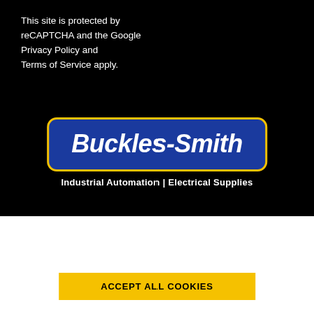This site is protected by reCAPTCHA and the Google Privacy Policy and Terms of Service apply.
[Figure (logo): Buckles-Smith logo — blue rounded rectangle with yellow border, white bold italic text 'Buckles-Smith', subtitle 'Industrial Automation | Electrical Supplies']
We use cookies to personalize content and ads, to provide social media features and to analyze our traffic. We also share information about your use of our site with our social media, advertising and analytics partners. READ MORE
ACCEPT ALL COOKIES